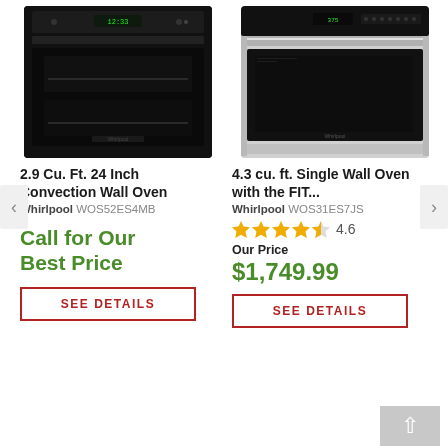[Figure (photo): Black Whirlpool 2.9 Cu. Ft. 24 Inch Convection Wall Oven (WOS52ES4MB) - front view with black finish and digital display]
[Figure (photo): Stainless steel Whirlpool 4.3 cu. ft. Single Wall Oven with FIT system (WOS31ES7JS) - front view with stainless steel finish]
2.9 Cu. Ft. 24 Inch Convection Wall Oven
4.3 cu. ft. Single Wall Oven with the FIT...
Whirlpool WOS52ES4MB
Whirlpool WOS31ES7JS
4.6
Call for Our Best Price
Our Price
$1,749.99
SEE DETAILS
SEE DETAILS